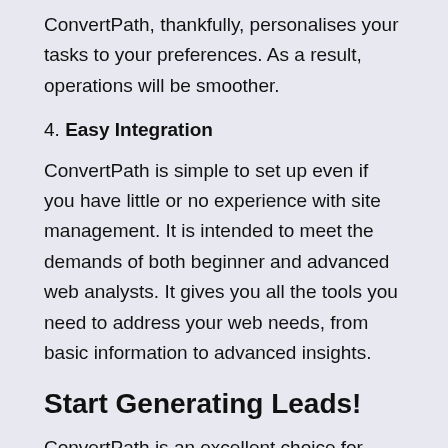ConvertPath, thankfully, personalises your tasks to your preferences. As a result, operations will be smoother.
4. Easy Integration
ConvertPath is simple to set up even if you have little or no experience with site management. It is intended to meet the demands of both beginner and advanced web analysts. It gives you all the tools you need to address your web needs, from basic information to advanced insights.
Start Generating Leads!
ConvertPath is an excellent choice for small businesses with limited resources. This software differs from other service providers because it includes a comprehensive set of effective business solutions. At an unbelievable monthly price of just $14.99, 500apps gives you instant access to